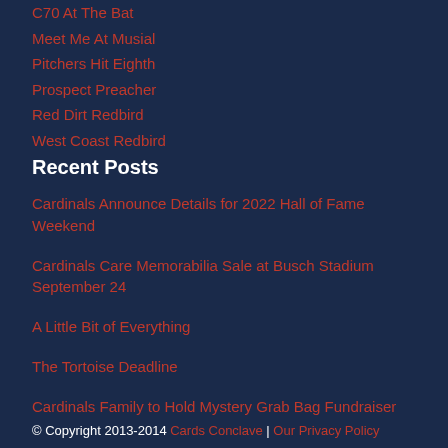C70 At The Bat
Meet Me At Musial
Pitchers Hit Eighth
Prospect Preacher
Red Dirt Redbird
West Coast Redbird
Recent Posts
Cardinals Announce Details for 2022 Hall of Fame Weekend
Cardinals Care Memorabilia Sale at Busch Stadium September 24
A Little Bit of Everything
The Tortoise Deadline
Cardinals Family to Hold Mystery Grab Bag Fundraiser
© Copyright 2013-2014 Cards Conclave | Our Privacy Policy